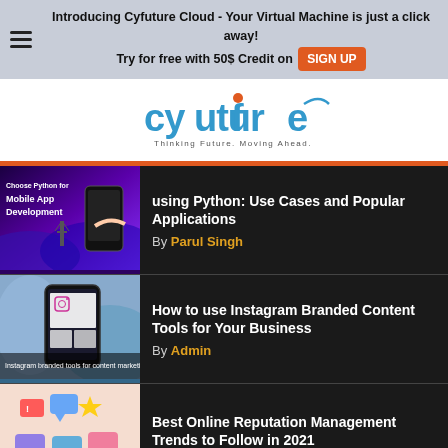Introducing Cyfuture Cloud - Your Virtual Machine is just a click away! Try for free with 50$ Credit on SIGN UP
[Figure (logo): Cyfuture logo with tagline 'Thinking Future. Moving Ahead.']
using Python: Use Cases and Popular Applications
By Parul Singh
How to use Instagram Branded Content Tools for Your Business
By Admin
Best Online Reputation Management Trends to Follow in 2021